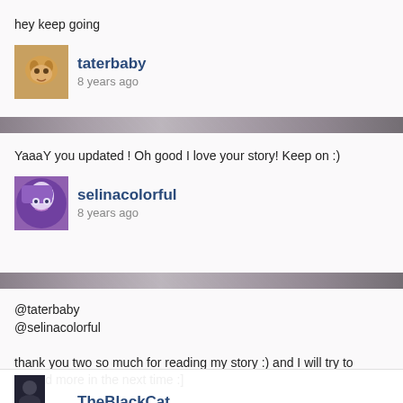hey keep going
taterbaby
8 years ago
YaaaY you updated ! Oh good I love your story! Keep on :)
selinacolorful
8 years ago
@taterbaby
@selinacolorful

thank you two so much for reading my story :) and I will try to upload more in the next time :]
TheBlackCat